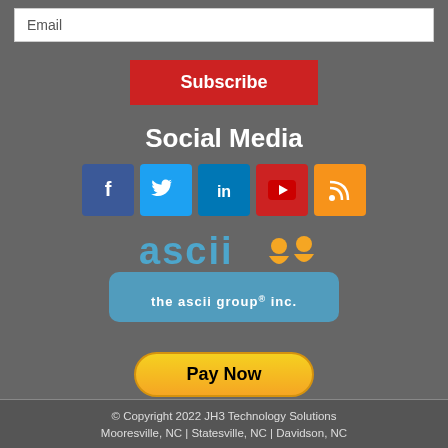Email
Subscribe
Social Media
[Figure (logo): Social media icons: Facebook, Twitter, LinkedIn, YouTube, RSS]
[Figure (logo): The ASCII Group Inc. logo]
[Figure (other): Pay Now button with Visa, Mastercard, American Express, Discover card icons]
© Copyright 2022 JH3 Technology Solutions
Mooresville, NC | Statesville, NC | Davidson, NC